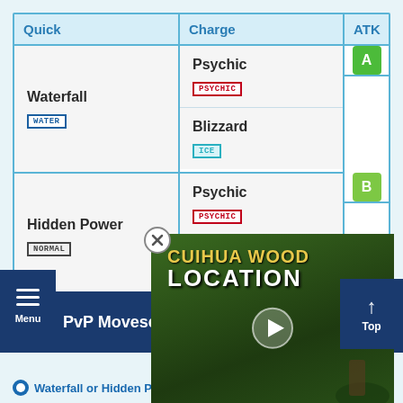| Quick | Charge | ATK |
| --- | --- | --- |
| Waterfall
WATER | Psychic
PSYCHIC
Blizzard
ICE | A |
| Hidden Power
NORMAL | Psychic
PSYCHIC
Hydro Pump
WATER | B |
[Figure (screenshot): Video thumbnail overlay: 'CUIHUA WOOD LOCATION' with a play button, overlapping the table]
PvP Moveset Explanat...
Waterfall or Hidden Power + Psychic and Hydro...